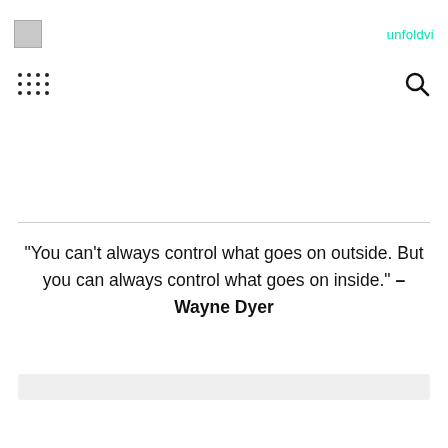unfoldvi
[Figure (logo): Small logo image placeholder in top left]
“You can’t always control what goes on outside. But you can always control what goes on inside.” – Wayne Dyer